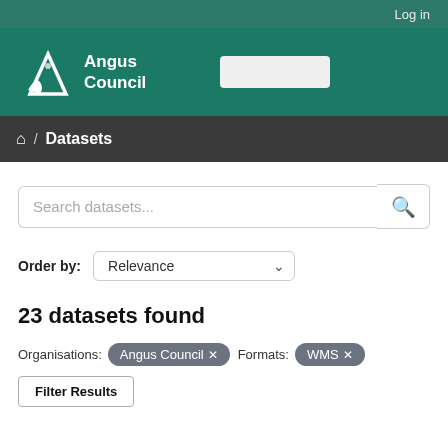Log in
[Figure (logo): Angus Council logo with white triangular bird icon and white text 'Angus Council' on teal background]
🏠 / Datasets
Search datasets...
Order by: Relevance
23 datasets found
Organisations: Angus Council × Formats: WMS ×
Filter Results